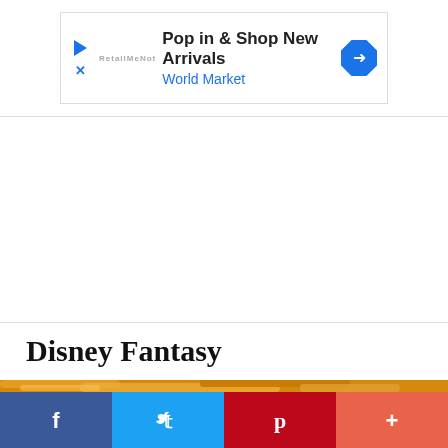[Figure (screenshot): Advertisement banner: 'Pop in & Shop New Arrivals World Market' with play and X icons on the left and a blue diamond arrow icon on the right]
Disney Fantasy
[Figure (photo): Close-up photo of yellow water slides on the Disney Fantasy cruise ship]
[Figure (infographic): Social sharing bar with Facebook, Twitter, Pinterest, and More (+) buttons]